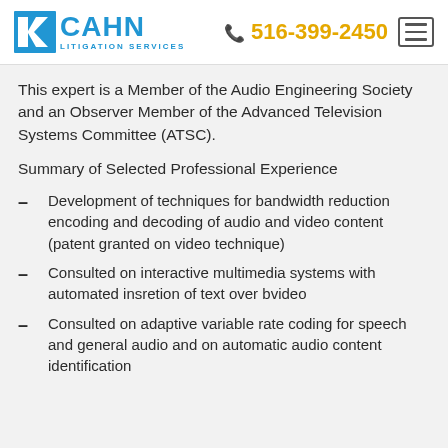CAHN LITIGATION SERVICES | 516-399-2450
This expert is a Member of the Audio Engineering Society and an Observer Member of the Advanced Television Systems Committee (ATSC).
Summary of Selected Professional Experience
Development of techniques for bandwidth reduction encoding and decoding of audio and video content (patent granted on video technique)
Consulted on interactive multimedia systems with automated insretion of text over bvideo
Consulted on adaptive variable rate coding for speech and general audio and on automatic audio content identification